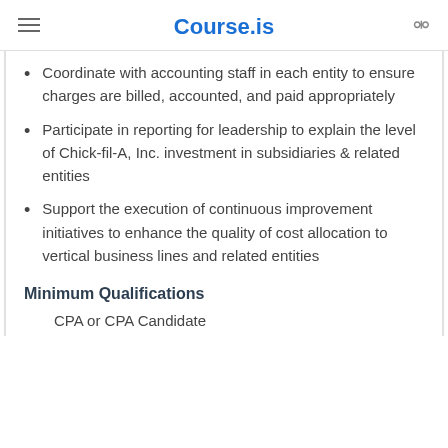Course.is
Coordinate with accounting staff in each entity to ensure charges are billed, accounted, and paid appropriately
Participate in reporting for leadership to explain the level of Chick-fil-A, Inc. investment in subsidiaries & related entities
Support the execution of continuous improvement initiatives to enhance the quality of cost allocation to vertical business lines and related entities
Minimum Qualifications
CPA or CPA Candidate